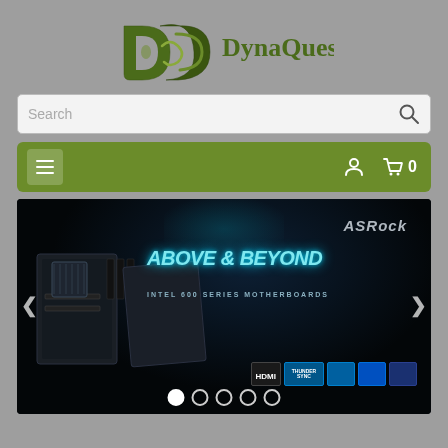[Figure (logo): DynaQuest PC logo — decorative D and C letterforms in olive/dark green with 'DynaQuest PC' text]
[Figure (screenshot): Search bar with placeholder text 'Search' and a magnifying glass icon on the right]
[Figure (screenshot): Olive green navigation bar with hamburger menu icon on left, user icon and cart icon showing '0' on right]
[Figure (photo): ASRock promotional banner: dark background with motherboards on left, 'ASRock' logo top right, text 'ABOVE & BEYOND' in cyan/white, 'INTEL 600 SERIES MOTHERBOARDS' subtitle, HDMI, Thunderbolt Sync, and Intel badges. Carousel arrows on sides, five navigation dots at bottom.]